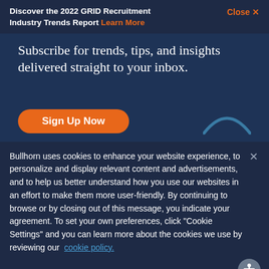Discover the 2022 GRID Recruitment Industry Trends Report Learn More
Close X
Subscribe for trends, tips, and insights delivered straight to your inbox.
Sign Up Now
Bullhorn uses cookies to enhance your website experience, to personalize and display relevant content and advertisements, and to help us better understand how you use our websites in an effort to make them more user-friendly. By continuing to browse or by closing out of this message, you indicate your agreement. To set your own preferences, click "Cookie Settings" and you can learn more about the cookies we use by reviewing our cookie policy.
Cookies Settings